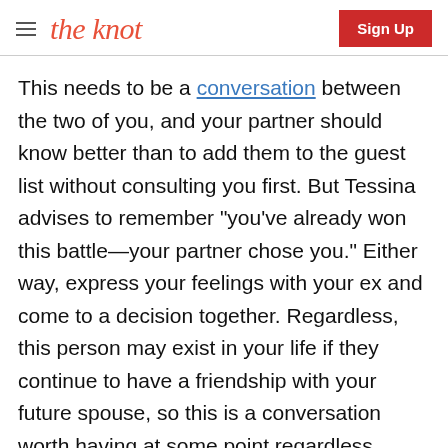the knot | Sign Up
This needs to be a conversation between the two of you, and your partner should know better than to add them to the guest list without consulting you first. But Tessina advises to remember "you've already won this battle—your partner chose you." Either way, express your feelings with your ex and come to a decision together. Regardless, this person may exist in your life if they continue to have a friendship with your future spouse, so this is a conversation worth having at some point regardless.
"You two need to discuss how involved ex-girlfriends